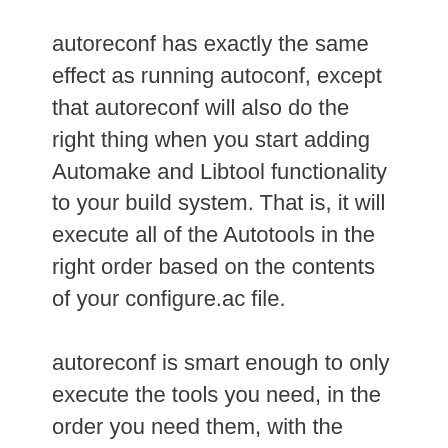autoreconf has exactly the same effect as running autoconf, except that autoreconf will also do the right thing when you start adding Automake and Libtool functionality to your build system. That is, it will execute all of the Autotools in the right order based on the contents of your configure.ac file.
autoreconf is smart enough to only execute the tools you need, in the order you need them, with the options you want (with one caveat that I'll mention shortly). Therefore, running autoreconf is the recommended method for executing the Autotools tool chain.